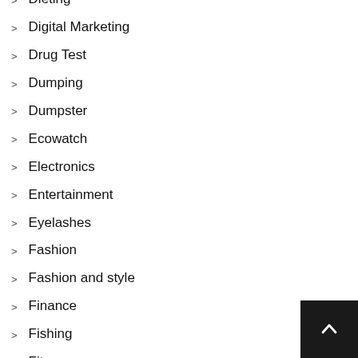Dieting
Digital Marketing
Drug Test
Dumping
Dumpster
Ecowatch
Electronics
Entertainment
Eyelashes
Fashion
Fashion and style
Finance
Fishing
Fitness
Food